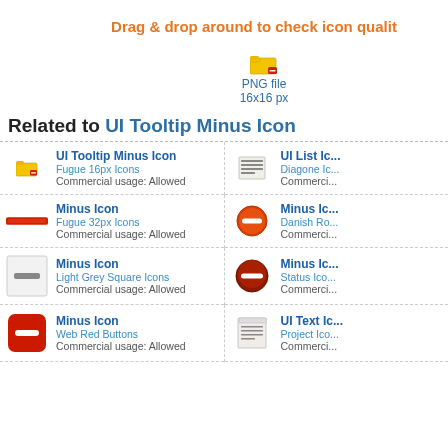Drag & drop around to check icon quality
[Figure (illustration): Small yellow folder icon with red minus badge, labeled PNG file 16x16 px]
Related to UI Tooltip Minus Icon
| UI Tooltip Minus Icon | Fugue 16px Icons | Commercial usage: Allowed | UI List Ic... | Diagone Ic... | Commerci... |
| Minus Icon | Fugue 32px Icons | Commercial usage: Allowed | Minus Ic... | Danish Ro... | Commerci... |
| Minus Icon | Light Grey Square Icons | Commercial usage: Allowed | Minus Ic... | Status Ico... | Commerci... |
| Minus Icon | Web Red Buttons | Commercial usage: Allowed | UI Text Ic... | Project Ico... | Commerci... |